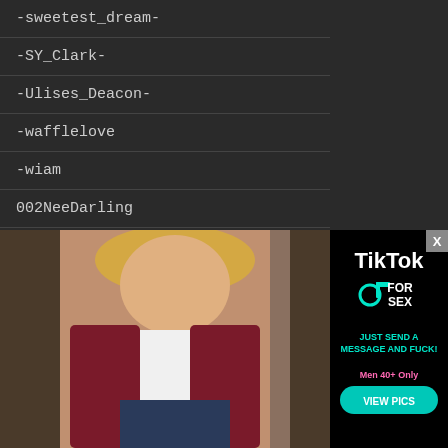-sweetest_dream-
-SY_Clark-
-Ulises_Deacon-
-wafflelove
-wiam
002NeeDarling
00l0v3r00
040198
09throwaway06
0gthugg
0h_hell0_
0jou-sama
1_poisonyvie
[Figure (photo): Advertisement showing a blonde woman in a restaurant setting wearing a white top and maroon blazer, with a TikTok for Sex advertisement overlay on the right side featuring 'JUST SEND A MESSAGE AND FUCK!' and 'VIEW PICS' button]